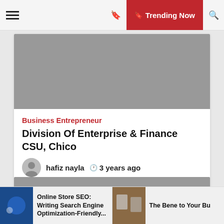≡  🔖 Trending Now 🔍
[Figure (photo): Gray placeholder image for article 1]
Business Entrepreneur
Division Of Enterprise & Finance CSU, Chico
hafiz nayla  🕐 3 years ago
... Read More
[Figure (photo): Gray placeholder image for article 2]
Online Store SEO: Writing Search Engine Optimization-Friendly...
The Bene to Your Bu